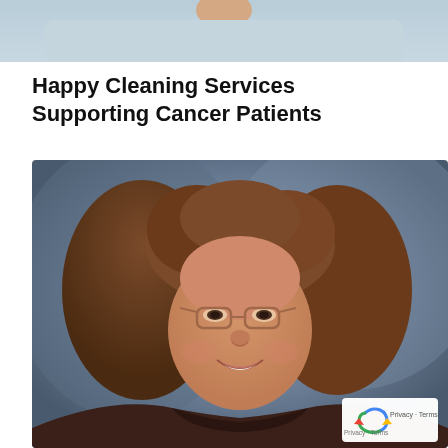[Figure (photo): Partial cropped photo of a person visible at the top of the page, showing shoulders and lower face area with light blue background]
Happy Cleaning Services Supporting Cancer Patients
[Figure (photo): Portrait photo of a middle-aged woman with curly brown hair, glasses, and a smile, wearing a dark patterned top, against a blurred blue-gray studio background. A reCAPTCHA badge appears in the bottom-right corner of the photo.]